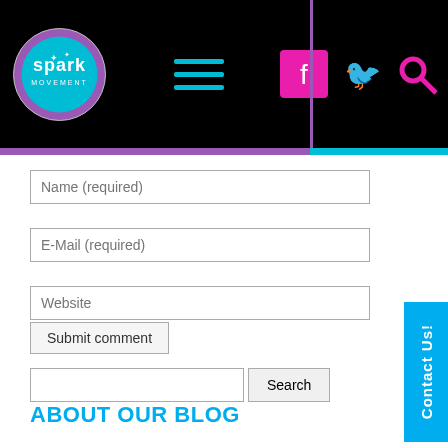[Figure (logo): Spark Movement circular logo on black header bar with hamburger menu and social media icons (Facebook, Twitter, Search)]
Name (required)
E-Mail (required)
Website
Submit comment
Search
ABOUT OUR BLOG
Here you will find more than 700 inspiring, dynamic and provocative pieces, searchable by topics and keywords, all written by girls and our friends and allies.
Researchers Are Saying